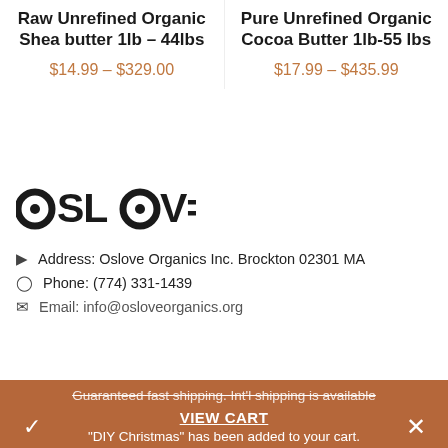Raw Unrefined Organic Shea butter 1lb – 44lbs
$14.99 – $329.00
Pure Unrefined Organic Cocoa Butter 1lb-55 lbs
$17.99 – $435.99
[Figure (logo): OSLOVE logo in bold black stylized text]
Address: Oslove Organics Inc. Brockton 02301 MA
Phone: (774) 331-1439
Email: info@osloveorganics.org
Guaranteed fast shipping. Int'l shipping is available
VIEW CART
"DIY Christmas" has been added to your cart.